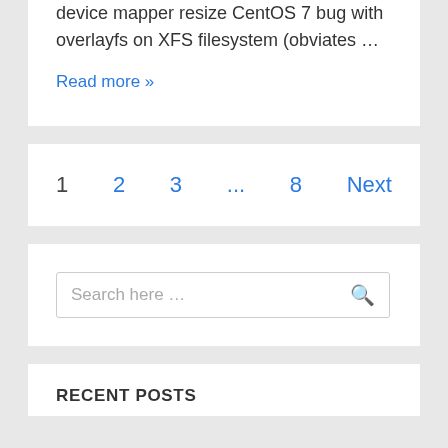device mapper resize CentOS 7 bug with overlayfs on XFS filesystem (obviates …
Read more »
1  2  3  ...  8  Next
Search here …
RECENT POSTS